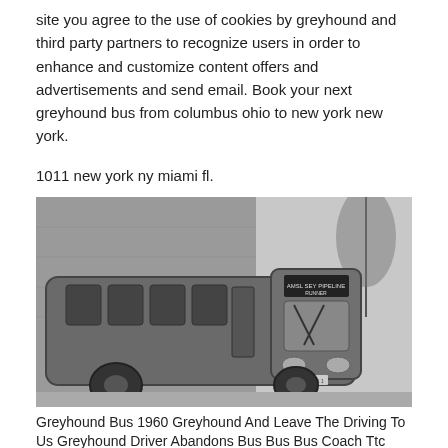site you agree to the use of cookies by greyhound and third party partners to recognize users in order to enhance and customize content offers and advertisements and send email. Book your next greyhound bus from columbus ohio to new york new york.
1011 new york ny miami fl.
[Figure (photo): Black and white photograph of a vintage Greyhound bus from approximately 1960, parked in front of a large building. The bus has the classic streamlined design with visible windshield wipers. The destination sign on the front reads 'AMSLEY PIPELINE RUNNER'.]
Greyhound Bus 1960 Greyhound And Leave The Driving To Us Greyhound Driver Abandons Bus Bus Bus Coach Ttc
[Figure (photo): Partial view of another photograph showing what appears to be a bus or transportation scene with a building in the background, cropped at the bottom of the page.]